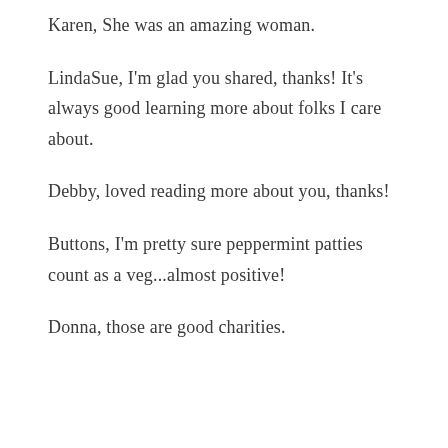Karen, She was an amazing woman.
LindaSue, I'm glad you shared, thanks! It's always good learning more about folks I care about.
Debby, loved reading more about you, thanks!
Buttons, I'm pretty sure peppermint patties count as a veg...almost positive!
Donna, those are good charities.